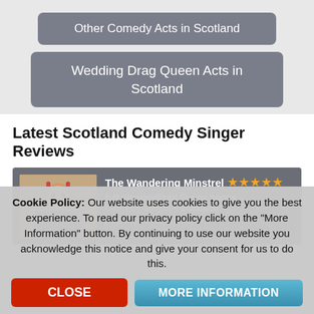Other Comedy Acts in Scotland
Wedding Drag Queen Acts in Scotland
Latest Scotland Comedy Singer Reviews
[Figure (photo): Review card showing The Wandering Minstrel with photo, 4 stars rating, description: full personalised Funny songs - Comedy Singer - Scotland, Event Type: Engagement]
Cookie Policy: Our website uses cookies to give you the best experience. To read our privacy policy click on the "More Information" button. By continuing to use our website you acknowledge this notice and give your consent for us to do this.
CLOSE
MORE INFORMATION